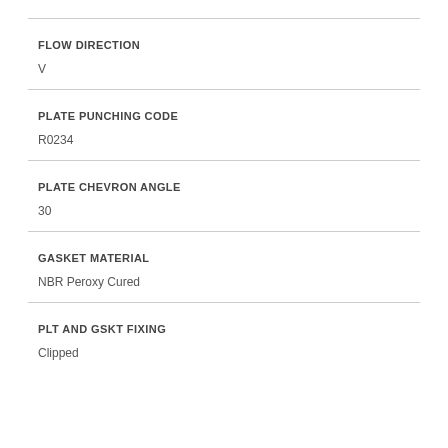FLOW DIRECTION
V
PLATE PUNCHING CODE
R0234
PLATE CHEVRON ANGLE
30
GASKET MATERIAL
NBR Peroxy Cured
PLT AND GSKT FIXING
Clipped